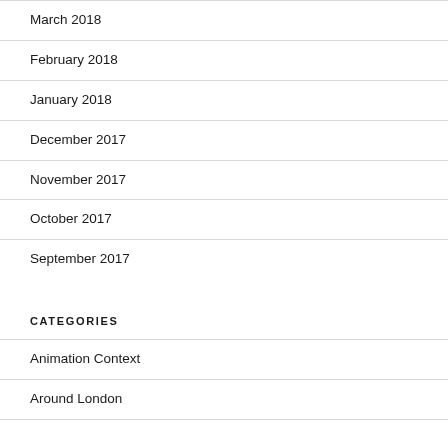March 2018
February 2018
January 2018
December 2017
November 2017
October 2017
September 2017
CATEGORIES
Animation Context
Around London